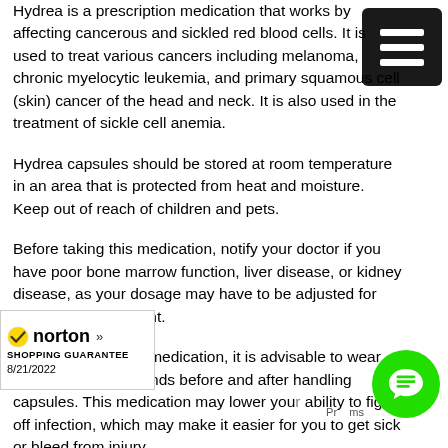Hydrea is a prescription medication that works by affecting cancerous and sickled red blood cells. It is used to treat various cancers including melanoma, chronic myelocytic leukemia, and primary squamous cell (skin) cancer of the head and neck. It is also used in the treatment of sickle cell anemia.
Hydrea capsules should be stored at room temperature in an area that is protected from heat and moisture. Keep out of reach of children and pets.
Before taking this medication, notify your doctor if you have poor bone marrow function, liver disease, or kidney disease, as your dosage may have to be adjusted for appropriate treatment.
When handling this medication, it is advisable to wear gloves and wash hands before and after handling capsules. This medication may lower your ability to fight off infection, which may make it easier for you to get sick or bleed from injury.
Patient Family Information : Take Hydrea exactly
[Figure (logo): Norton Shopping Guarantee badge with checkmark, date 8/21/2022]
[Figure (illustration): Green circular chat/messaging button]